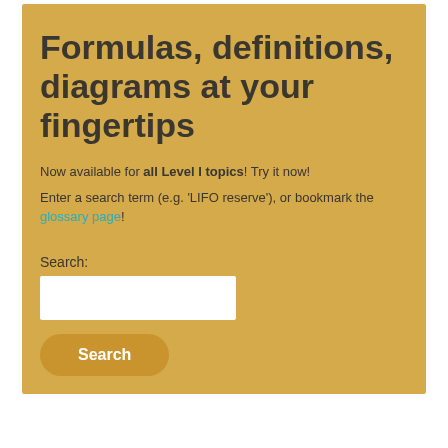Formulas, definitions, diagrams at your fingertips
Now available for all Level I topics! Try it now!
Enter a search term (e.g. 'LIFO reserve'), or bookmark the glossary page!
Search: